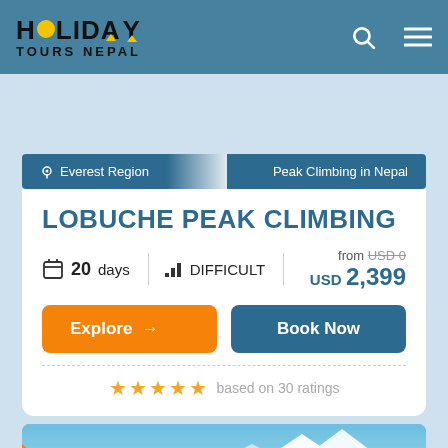HOLIDAY TOURS NEPAL
Everest Region | Peak Climbing in Nepal
LOBUCHE PEAK CLIMBING
20 days | DIFFICULT | from USD 0 | USD 2,399
Explore → | Book Now
★★★★★ based on 30 ratings
[Figure (photo): Mountain landscape with blue sky at bottom of page]